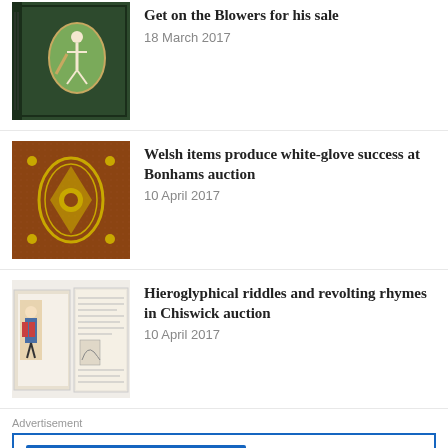Get on the Blowers for his sale
18 March 2017
Welsh items produce white-glove success at Bonhams auction
10 April 2017
Hieroglyphical riddles and revolting rhymes in Chiswick auction
10 April 2017
Advertisement
[Figure (logo): PACK & SEND logo on blue background with yellow text and arrow graphic]
Old Masters at shipping art and antiques
Bespoke secure packing